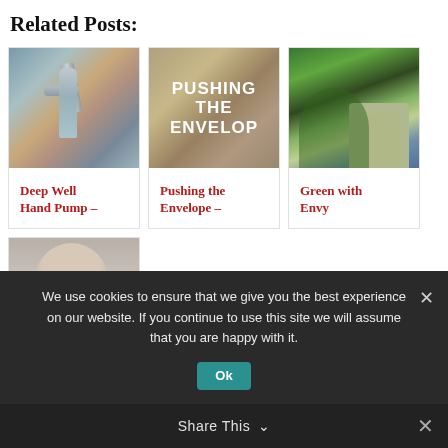Related Posts:
[Figure (photo): Photo of hands under a running water tap/faucet with stone wall background]
[Figure (photo): Text graphic reading PUSHING THE ENVELOP on stone background]
[Figure (photo): Photo of a green weeping willow tree by a pond with a house and red bridge]
Deep Well Hand Pump –
Pushing the Envelope –
Green with Envy
[Figure (photo): Photo of an elderly person with glasses and white hair with text overlay containing a quote]
We use cookies to ensure that we give you the best experience on our website. If you continue to use this site we will assume that you are happy with it.
Ok
Share This